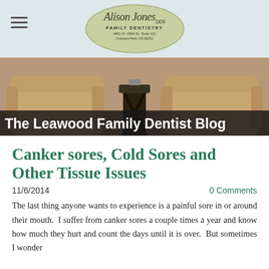Alison Jones Family Dentistry — 4601 W. 109th St., Suite 110, Overland Park, KS 66211
[Figure (photo): Waiting room with two tan/beige armchairs and a dark wood accent table between them]
The Leawood Family Dentist Blog
Canker sores, Cold Sores and Other Tissue Issues
11/6/2014
0 Comments
The last thing anyone wants to experience is a painful sore in or around their mouth.  I suffer from canker sores a couple times a year and know how much they hurt and count the days until it is over.  But sometimes I wonder